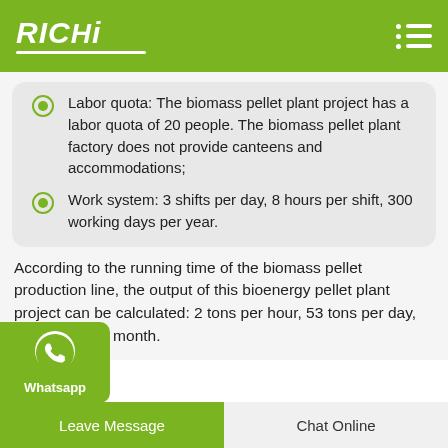RICHI
Labor quota: The biomass pellet plant project has a labor quota of 20 people. The biomass pellet plant factory does not provide canteens and accommodations;
Work system: 3 shifts per day, 8 hours per shift, 300 working days per year.
According to the running time of the biomass pellet production line, the output of this bioenergy pellet plant project can be calculated: 2 tons per hour, 53 tons per day, 1333 tons per month.
Leave Message   Chat Online